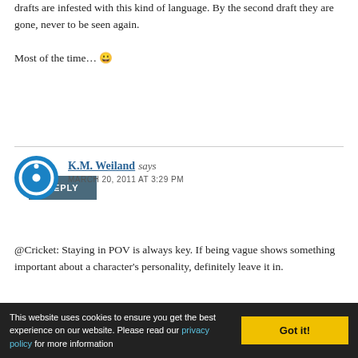drafts are infested with this kind of language. By the second draft they are gone, never to be seen again.

Most of the time… 😀
REPLY
[Figure (illustration): Blue circular power/avatar icon for K.M. Weiland]
K.M. Weiland says
MARCH 20, 2011 AT 3:29 PM
@Cricket: Staying in POV is always key. If being vague shows something important about a character's personality, definitely leave it in.
@ralfast: Good for you! Thank heavens for second
This website uses cookies to ensure you get the best experience on our website. Please read our privacy policy for more information
Got it!